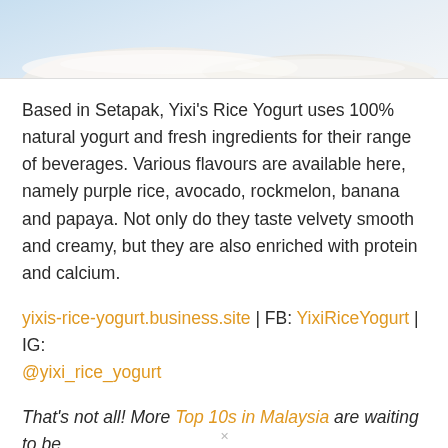[Figure (photo): Photo of rice yogurt cups/containers with light blue background, partially cropped at top of page]
Based in Setapak, Yixi's Rice Yogurt uses 100% natural yogurt and fresh ingredients for their range of beverages. Various flavours are available here, namely purple rice, avocado, rockmelon, banana and papaya. Not only do they taste velvety smooth and creamy, but they are also enriched with protein and calcium.
yixis-rice-yogurt.business.site | FB: YixiRiceYogurt | IG: @yixi_rice_yogurt
That's not all! More Top 10s in Malaysia are waiting to be